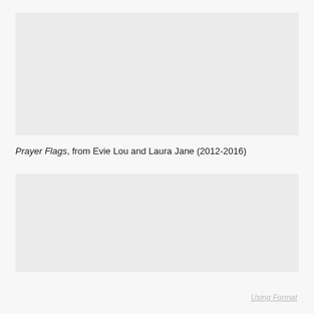[Figure (photo): Top image placeholder area, light gray rectangle]
Prayer Flags, from Evie Lou and Laura Jane (2012-2016)
[Figure (photo): Bottom image placeholder area, light gray rectangle]
Using Format